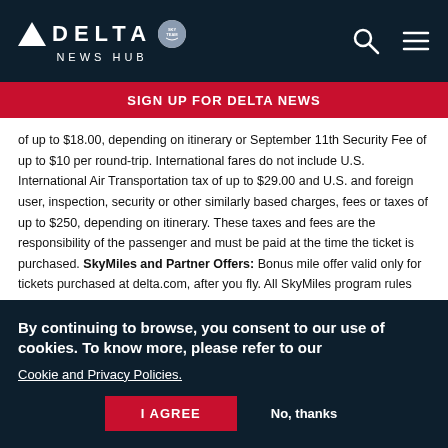DELTA NEWS HUB
SIGN UP FOR DELTA NEWS
of up to $18.00, depending on itinerary or September 11th Security Fee of up to $10 per round-trip. International fares do not include U.S. International Air Transportation tax of up to $29.00 and U.S. and foreign user, inspection, security or other similarly based charges, fees or taxes of up to $250, depending on itinerary. These taxes and fees are the responsibility of the passenger and must be paid at the time the ticket is purchased. SkyMiles and Partner Offers: Bonus mile offer valid only for tickets purchased at delta.com, after you fly. All SkyMiles program rules apply to bonus offer.
By continuing to browse, you consent to our use of cookies. To know more, please refer to our Cookie and Privacy Policies.
I AGREE   No, thanks